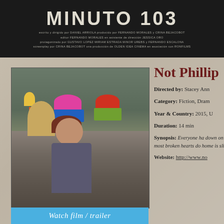[Figure (photo): Film poster/title card for 'Minuto 103' with dark background and Spanish credits text]
[Figure (photo): Film still showing two women, one older with curly white hair wearing glasses near flower pots, and one younger woman with dark hair crouching on stone steps]
Not Phillip
Directed by: Stacey Ann
Category: Fiction, Dram
Year & Country: 2015, U
Duration: 14 min
Synopsis: Everyone ha down on her luck, exha most broken hearts do home is slipping away
Website: http://www.no
Watch film / trailer